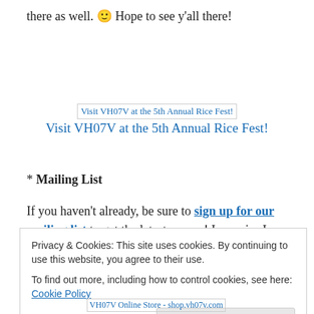there as well. 🙂 Hope to see y'all there!
[Figure (other): Image link: Visit VH07V at the 5th Annual Rice Fest!]
Visit VH07V at the 5th Annual Rice Fest!
* Mailing List
If you haven't already, be sure to sign up for our mailing list to get the latest scoops! I promise I don't email too
Privacy & Cookies: This site uses cookies. By continuing to use this website, you agree to their use.
To find out more, including how to control cookies, see here: Cookie Policy
Close and accept
[Figure (other): Image link: VH07V Online Store - shop.vh07v.com]